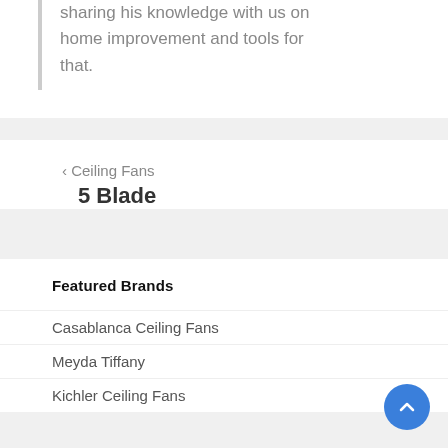sharing his knowledge with us on home improvement and tools for that.
‹ Ceiling Fans
5 Blade
Featured Brands
Casablanca Ceiling Fans
Meyda Tiffany
Kichler Ceiling Fans